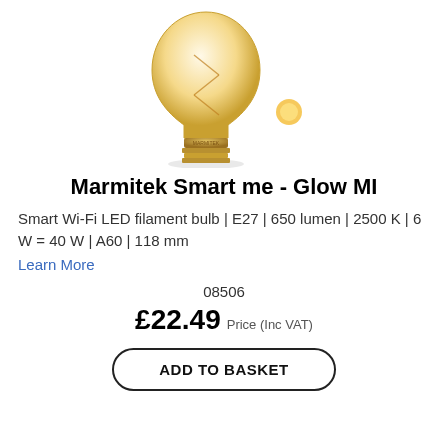[Figure (photo): A Marmitek Smart Wi-Fi LED filament bulb with golden/amber tint and a small amber glow dot to its right, shown against a white background.]
Marmitek Smart me - Glow MI
Smart Wi-Fi LED filament bulb | E27 | 650 lumen | 2500 K | 6 W = 40 W | A60 | 118 mm
Learn More
08506
£22.49 Price (Inc VAT)
ADD TO BASKET